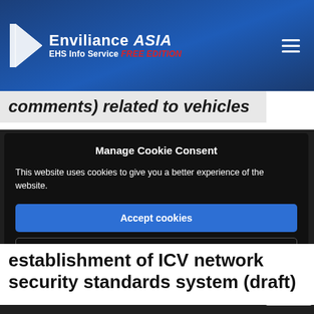Enviliance ASIA EHS Info Service FREE EDITION
comments) related to vehicles
Manage Cookie Consent
This website uses cookies to give you a better experience of the website.
Accept cookies
Deny
establishment of ICV network security standards system (draft)
Technology Development   Automobiles